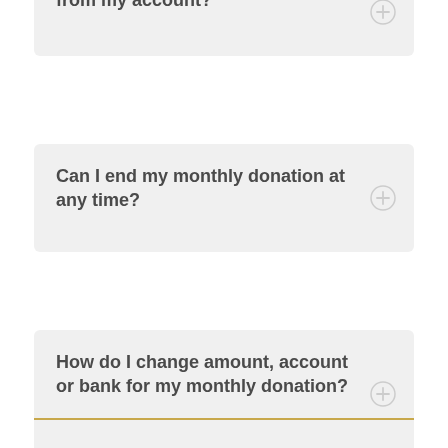When is the money withdrawn from my account?
Can I end my monthly donation at any time?
How do I change amount, account or bank for my monthly donation?